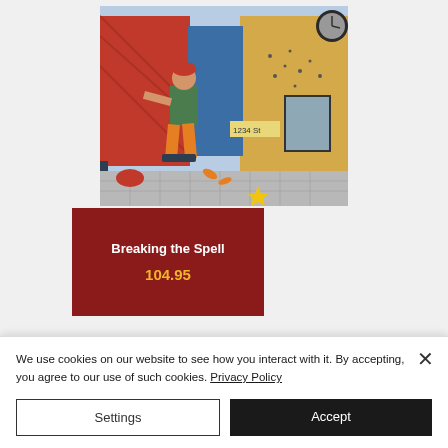[Figure (illustration): Colorful painting/artwork showing a person seated on a street with urban background, brick buildings, a clock, and scattered objects on a tiled sidewalk. Bold expressive style with red, orange, yellow tones.]
Breaking the Spell
104.95
We use cookies on our website to see how you interact with it. By accepting, you agree to our use of such cookies. Privacy Policy
Settings
Accept